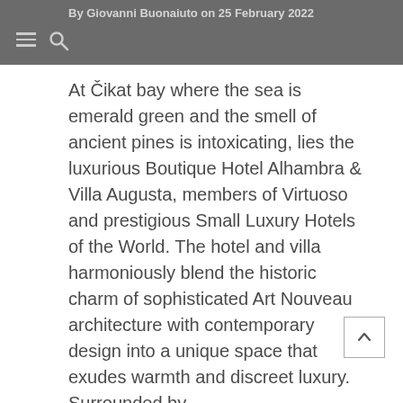By Giovanni Buonaiuto on 25 February 2022
At Čikat bay where the sea is emerald green and the smell of ancient pines is intoxicating, lies the luxurious Boutique Hotel Alhambra & Villa Augusta, members of Virtuoso and prestigious Small Luxury Hotels of the World. The hotel and villa harmoniously blend the historic charm of sophisticated Art Nouveau architecture with contemporary design into a unique space that exudes warmth and discreet luxury. Surrounded by...